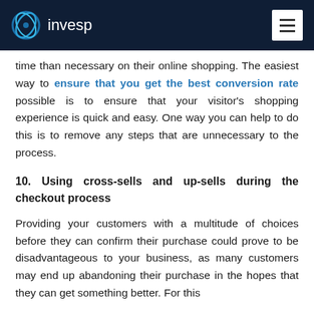invesp
time than necessary on their online shopping. The easiest way to ensure that you get the best conversion rate possible is to ensure that your visitor's shopping experience is quick and easy. One way you can help to do this is to remove any steps that are unnecessary to the process.
10. Using cross-sells and up-sells during the checkout process
Providing your customers with a multitude of choices before they can confirm their purchase could prove to be disadvantageous to your business, as many customers may end up abandoning their purchase in the hopes that they can get something better. For this